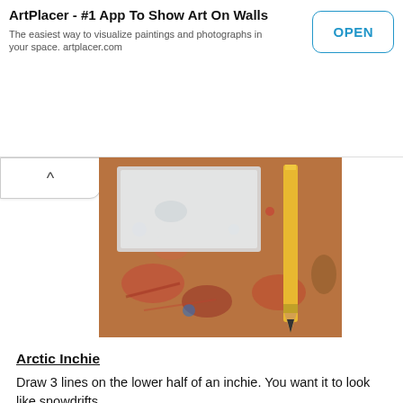ArtPlacer - #1 App To Show Art On Walls
The easiest way to visualize paintings and photographs in your space. artplacer.com
[Figure (photo): Close-up photo of a mixed-media art surface with paint splatters, a white card/canvas piece, and a yellow pencil resting on it.]
Arctic Inchie
Draw 3 lines on the lower half of an inchie.  You want it to look like snowdrifts.